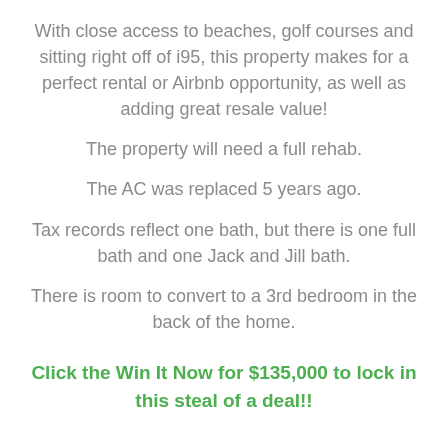With close access to beaches, golf courses and sitting right off of i95, this property makes for a perfect rental or Airbnb opportunity, as well as adding great resale value!
The property will need a full rehab.
The AC was replaced 5 years ago.
Tax records reflect one bath, but there is one full bath and one Jack and Jill bath.
There is room to convert to a 3rd bedroom in the back of the home.
Click the Win It Now for $135,000 to lock in this steal of a deal!!